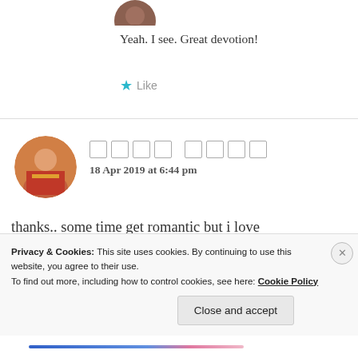[Figure (photo): Circular avatar photo of a person at the top of the comment section]
Yeah. I see. Great devotion!
★ Like
[Figure (photo): Circular avatar photo of a woman in traditional Indian dress]
█▓▒░ 18 Apr 2019 at 6:44 pm
thanks.. some time get romantic but i love only God
Privacy & Cookies: This site uses cookies. By continuing to use this website, you agree to their use. To find out more, including how to control cookies, see here: Cookie Policy
Close and accept